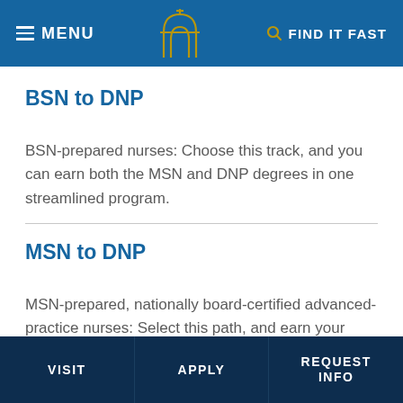MENU  [arch logo]  FIND IT FAST
BSN to DNP
BSN-prepared nurses: Choose this track, and you can earn both the MSN and DNP degrees in one streamlined program.
MSN to DNP
MSN-prepared, nationally board-certified advanced-practice nurses: Select this path, and earn your DNP online in as few as two years.
VISIT   APPLY   REQUEST INFO